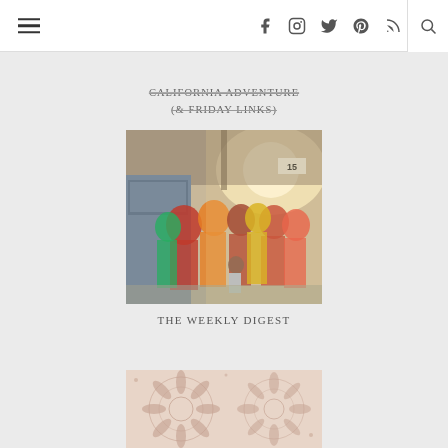Navigation bar with hamburger menu, social icons (Facebook, Instagram, Twitter, Pinterest, RSS), and search
CALIFORNIA ADVENTURE (& FRIDAY LINKS)
[Figure (photo): Crowded train platform scene in India, colorful saris, bright sunlight streaming through station roof, platform number 15 visible]
THE WEEKLY DIGEST
[Figure (photo): Close-up of intricate lace or mandala fabric texture in pink/beige tones]